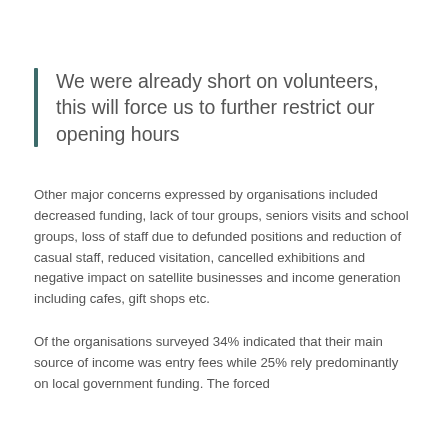We were already short on volunteers, this will force us to further restrict our opening hours
Other major concerns expressed by organisations included decreased funding, lack of tour groups, seniors visits and school groups, loss of staff due to defunded positions and reduction of casual staff, reduced visitation, cancelled exhibitions and negative impact on satellite businesses and income generation including cafes, gift shops etc.
Of the organisations surveyed 34% indicated that their main source of income was entry fees while 25% rely predominantly on local government funding. The forced